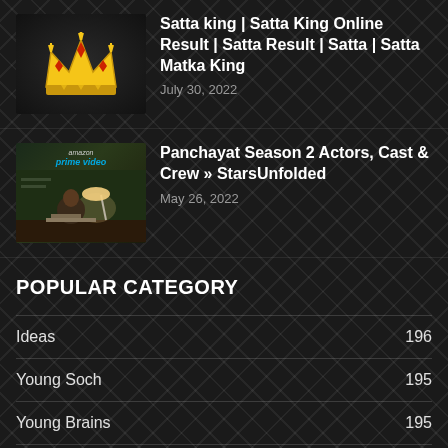[Figure (illustration): Crown illustration (Satta King logo) in a dark background]
Satta king | Satta King Online Result | Satta Result | Satta | Satta Matka King
July 30, 2022
[Figure (photo): Panchayat Season 2 thumbnail from Amazon Prime Video showing actor at desk under lamp]
Panchayat Season 2 Actors, Cast & Crew » StarsUnfolded
May 26, 2022
POPULAR CATEGORY
Ideas  196
Young Soch  195
Young Brains  195
Entrepreneur  7
Inovation  6